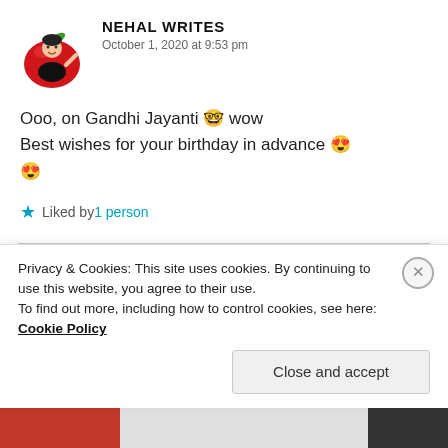[Figure (illustration): Avatar of Nehal Writes: cartoon figure of a person with dark hair holding a large red apple]
NEHAL WRITES
October 1, 2020 at 9:53 pm
Ooo, on Gandhi Jayanti 🤓 wow
Best wishes for your birthday in advance 😍
😍
Liked by 1 person
[Figure (photo): Avatar of Hemalatha Ramesh: round photo portrait]
HEMALATHA RAMESH
Privacy & Cookies: This site uses cookies. By continuing to use this website, you agree to their use.
To find out more, including how to control cookies, see here: Cookie Policy
Close and accept